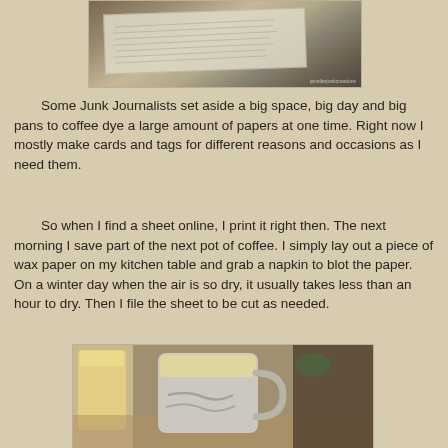[Figure (photo): A photo of printed papers on a table, possibly coffee-dyed sheets with text on them, seen from above at an angle.]
Some Junk Journalists set aside a big space, big day and big pans to coffee dye a large amount of papers at one time. Right now I mostly make cards and tags for different reasons and occasions as I need them.
So when I find a sheet online, I print it right then. The next morning I save part of the next pot of coffee. I simply lay out a piece of wax paper on my kitchen table and grab a napkin to blot the paper.  On a winter day when the air is so dry, it usually takes less than an hour to dry. Then I file the sheet to be cut as needed.
[Figure (photo): A photo of a ceramic coffee mug on a wooden table, with a glass of juice or liquid visible on the left side.]